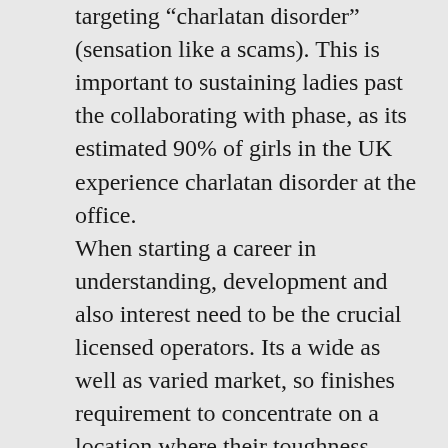targeting “charlatan disorder” (sensation like a scams). This is important to sustaining ladies past the collaborating with phase, as its estimated 90% of girls in the UK experience charlatan disorder at the office. When starting a career in understanding, development and also interest need to be the crucial licensed operators. Its a wide as well as varied market, so finishes requirement to concentrate on a location where their toughness exist and also possess it. Be open to paying attention, upskilling, as well as discovering from others. Avast: How educated do your trainees call for to be to sign up with CFG? Abdominal Muscle: The bulk of our